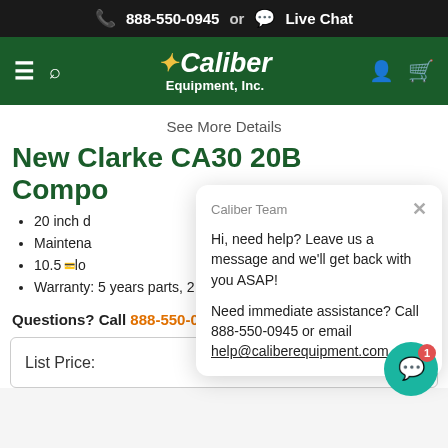📞 888-550-0945  or  💬 Live Chat
[Figure (logo): Caliber Equipment, Inc. logo with star/sparkle icon on dark green header bar with hamburger menu, search, user and cart icons]
See More Details
New Clarke CA30 20B Compo...
20 inch d...
Maintena...
10.5 ...lo...
Warranty: 5 years parts, 2 years labor, 180 days travel
Questions? Call 888-550-0945 or Email Us
| List Price: | $5,636.00 |
| --- | --- |
[Figure (screenshot): Live chat popup from Caliber Team saying: Hi, need help? Leave us a message and we'll get back with you ASAP! Need immediate assistance? Call 888-550-0945 or email help@caliberequipment.com. With a close X button and a teal chat bubble button with badge '1' in the bottom right.]